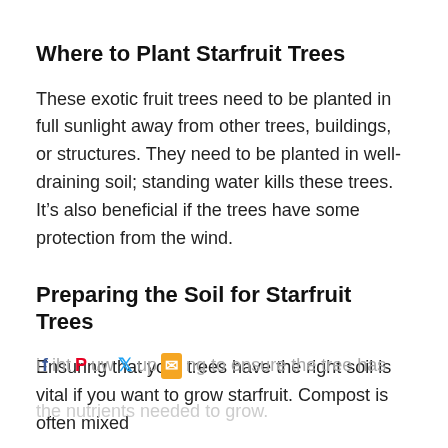Where to Plant Starfruit Trees
These exotic fruit trees need to be planted in full sunlight away from other trees, buildings, or structures. They need to be planted in well-draining soil; standing water kills these trees. It’s also beneficial if the trees have some protection from the wind.
Preparing the Soil for Starfruit Trees
Ensuring that your trees have the right soil is vital if you want to grow starfruit. Compost is often mixed into the soil when planting to ensure the tree has the nutrients needed to grow.